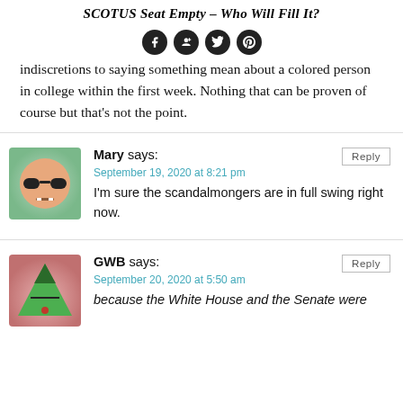SCOTUS Seat Empty – Who Will Fill It?
[Figure (other): Social media sharing icons: Facebook, Google+, Twitter, Pinterest]
indiscretions to saying something mean about a colored person in college within the first week. Nothing that can be proven of course but that's not the point.
Mary says:
September 19, 2020 at 8:21 pm
I'm sure the scandalmongers are in full swing right now.
GWB says:
September 20, 2020 at 5:50 am
because the White House and the Senate were